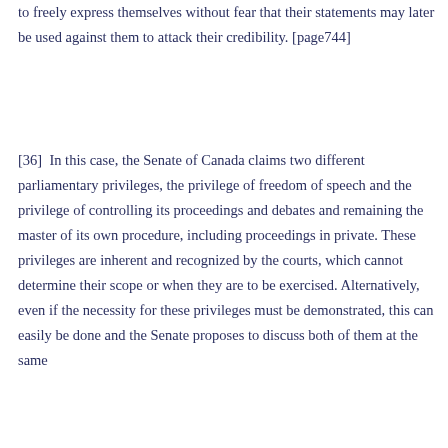to freely express themselves without fear that their statements may later be used against them to attack their credibility. [page744]
[36]  In this case, the Senate of Canada claims two different parliamentary privileges, the privilege of freedom of speech and the privilege of controlling its proceedings and debates and remaining the master of its own procedure, including proceedings in private. These privileges are inherent and recognized by the courts, which cannot determine their scope or when they are to be exercised. Alternatively, even if the necessity for these privileges must be demonstrated, this can easily be done and the Senate proposes to discuss both of them at the same